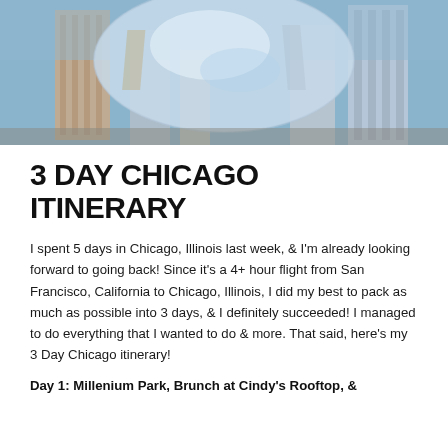[Figure (photo): Aerial/close-up photo of the Cloud Gate bean sculpture in Chicago with city skyline buildings reflected in its mirrored surface against a blue sky]
3 DAY CHICAGO ITINERARY
I spent 5 days in Chicago, Illinois last week, & I'm already looking forward to going back! Since it's a 4+ hour flight from San Francisco, California to Chicago, Illinois, I did my best to pack as much as possible into 3 days, & I definitely succeeded! I managed to do everything that I wanted to do & more. That said, here's my 3 Day Chicago itinerary!
Day 1: Millenium Park, Brunch at Cindy's Rooftop, &